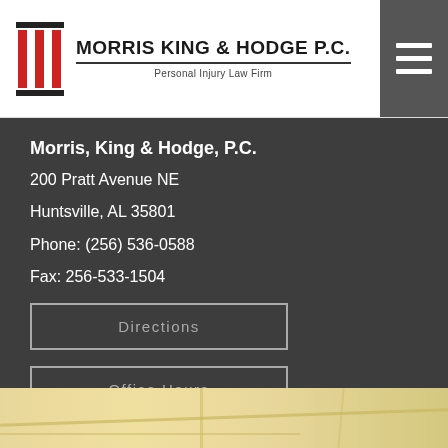[Figure (logo): Morris King & Hodge P.C. law firm logo with red column icon and firm name]
[Figure (other): Hamburger menu icon (three horizontal white lines on dark gray background)]
Morris, King & Hodge, P.C.
200 Pratt Avenue NE
Huntsville, AL 35801
Phone: (256) 536-0588
Fax: 256-533-1504
Directions
Office Hours
[Figure (map): Partial street map showing road layout near office location]